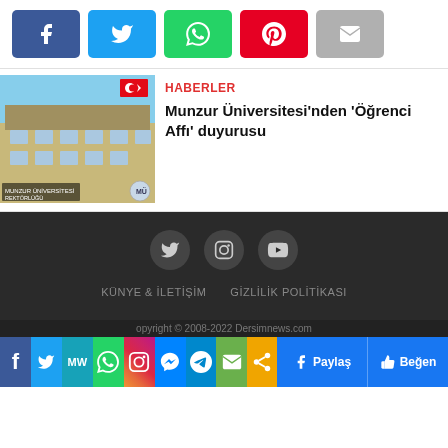[Figure (infographic): Social share buttons row: Facebook (blue), Twitter (light blue), WhatsApp (green), Pinterest (red), Email (gray)]
[Figure (photo): Photo of Munzur Üniversitesi building exterior with Turkish flag]
HABERLER
Munzur Üniversitesi'nden 'Öğrenci Affı' duyurusu
[Figure (infographic): Footer dark background with Twitter, Instagram, YouTube social icons and navigation links KÜNYE & İLETİŞİM, GİZLİLİK POLİTİKASI]
Copyright © 2008-2022 Dersimnews.com
[Figure (infographic): Bottom share bar with colored social media icons: Facebook, Twitter, MW, WhatsApp, Instagram, Messenger, Telegram, Email, Share; Paylaş and Beğen buttons]